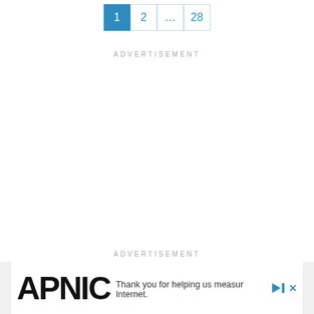1  2  ...  28  (pagination)
ADVERTISEMENT
ADVERTISEMENT
[Figure (other): APNIC advertisement banner with logo text 'APNIC' and text 'Thank you for helping us measure the Internet.' with play and close icons.]